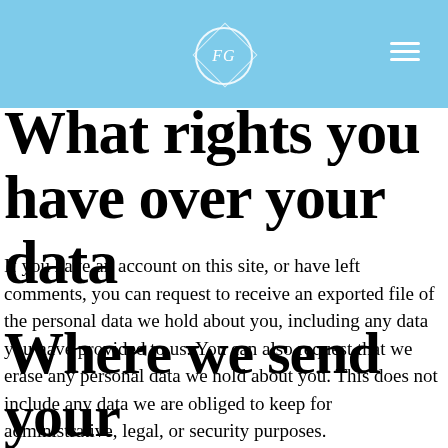FG
What rights you have over your data
If you have an account on this site, or have left comments, you can request to receive an exported file of the personal data we hold about you, including any data you have provided to us. You can also request that we erase any personal data we hold about you. This does not include any data we are obliged to keep for administrative, legal, or security purposes.
Where we send your